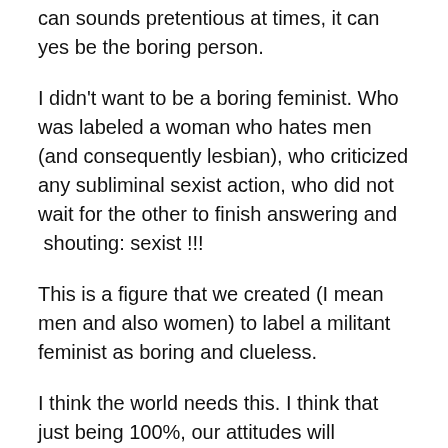can sounds pretentious at times, it can yes be the boring person.
I didn't want to be a boring feminist. Who was labeled a woman who hates men (and consequently lesbian), who criticized any subliminal sexist action, who did not wait for the other to finish answering and  shouting: sexist !!!
This is a figure that we created (I mean men and also women) to label a militant feminist as boring and clueless.
I think the world needs this. I think that just being 100%, our attitudes will change.
No changes will occur with mild attitudes